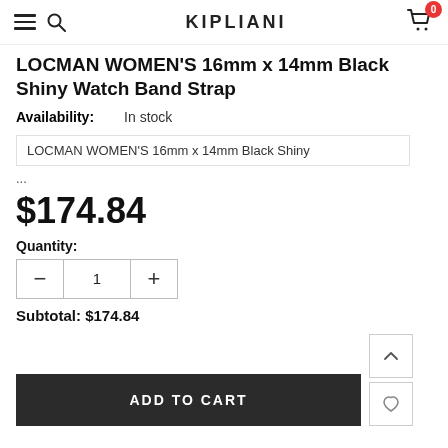KIPLIANI
LOCMAN WOMEN'S 16mm x 14mm Black Shiny Watch Band Strap
Availability: In stock
LOCMAN WOMEN'S 16mm x 14mm Black Shiny
...
$174.84
Quantity:
Subtotal: $174.84
ADD TO CART